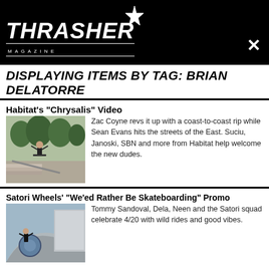Thrasher Magazine
DISPLAYING ITEMS BY TAG: BRIAN DELATORRE
Habitat's "Chrysalis" Video
[Figure (photo): Skateboarder doing a trick on a rail in an outdoor urban plaza with trees in background]
Zac Coyne revs it up with a coast-to-coast rip while Sean Evans hits the streets of the East. Suciu, Janoski, SBN and more from Habitat help welcome the new dudes.
Satori Wheels' "We'ed Rather Be Skateboarding" Promo
[Figure (photo): Skateboarder riding near a curved concrete ramp or pool]
Tommy Sandoval, Dela, Neen and the Satori squad celebrate 4/20 with wild rides and good vibes.